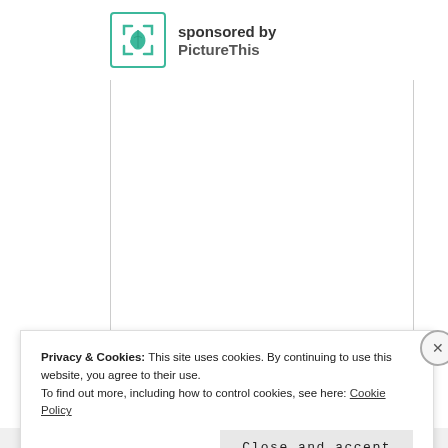[Figure (logo): PictureThis app logo — green leaf icon inside a rounded square with teal corner brackets]
sponsored by PictureThis
[Figure (other): Large white content area with left and right vertical borders]
Privacy & Cookies: This site uses cookies. By continuing to use this website, you agree to their use.
To find out more, including how to control cookies, see here: Cookie Policy
Close and accept